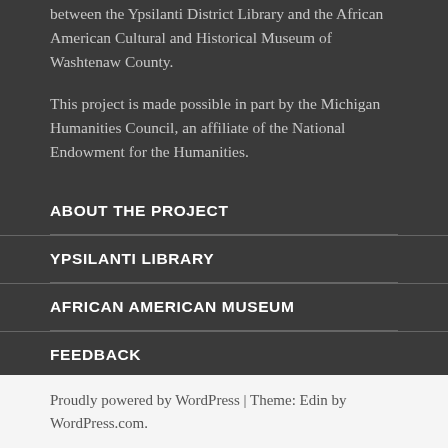between the Ypsilanti District Library and the African American Cultural and Historical Museum of Washtenaw County.
This project is made possible in part by the Michigan Humanities Council, an affiliate of the National Endowment for the Humanities.
ABOUT THE PROJECT
YPSILANTI LIBRARY
AFRICAN AMERICAN MUSEUM
FEEDBACK
Proudly powered by WordPress | Theme: Edin by WordPress.com.